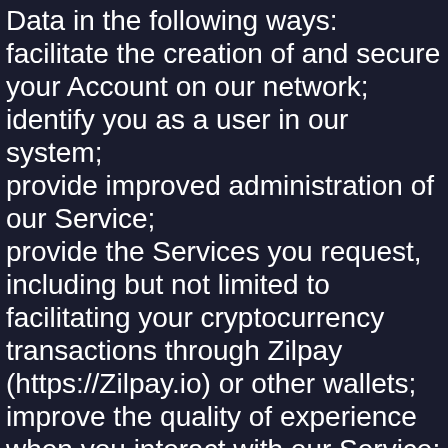Data in the following ways: facilitate the creation of and secure your Account on our network; identify you as a user in our system; provide improved administration of our Service; provide the Services you request, including but not limited to facilitating your cryptocurrency transactions through Zilpay (https://Zilpay.io) or other wallets; improve the quality of experience when you interact with our Service; send you a welcome e-mail to verify